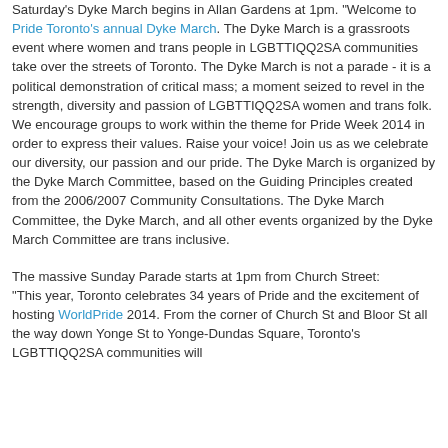Saturday's Dyke March begins in Allan Gardens at 1pm. "Welcome to Pride Toronto's annual Dyke March. The Dyke March is a grassroots event where women and trans people in LGBTTIQQ2SA communities take over the streets of Toronto. The Dyke March is not a parade - it is a political demonstration of critical mass; a moment seized to revel in the strength, diversity and passion of LGBTTIQQ2SA women and trans folk. We encourage groups to work within the theme for Pride Week 2014 in order to express their values. Raise your voice! Join us as we celebrate our diversity, our passion and our pride. The Dyke March is organized by the Dyke March Committee, based on the Guiding Principles created from the 2006/2007 Community Consultations. The Dyke March Committee, the Dyke March, and all other events organized by the Dyke March Committee are trans inclusive.
The massive Sunday Parade starts at 1pm from Church Street: "This year, Toronto celebrates 34 years of Pride and the excitement of hosting WorldPride 2014. From the corner of Church St and Bloor St all the way down Yonge St to Yonge-Dundas Square, Toronto's LGBTTIQQ2SA communities will